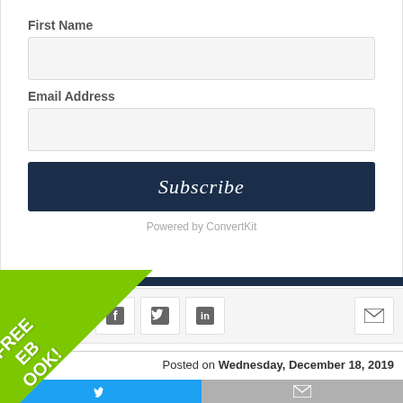First Name
Email Address
Subscribe
Powered by ConvertKit
Comment
[Figure (infographic): Social sharing icons: Facebook, Twitter, LinkedIn, Email]
Strategy
Posted on Wednesday, December 18, 2019
[Figure (infographic): Twitter share button (blue) and Email share button (gray)]
[Figure (infographic): Green triangle overlay with FREE EBOOK! text]